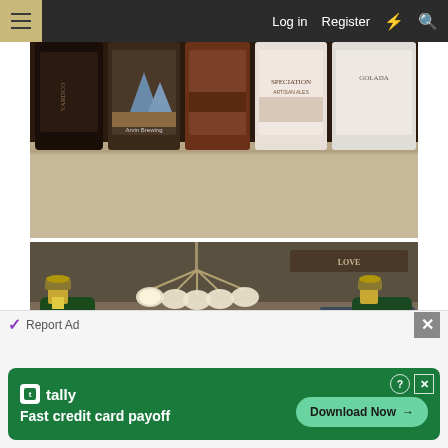Log in  Register
[Figure (photo): Close-up photo of several beer/craft beverage cans/bottles lined up on a countertop, showing partial labels including 'SPECIATION' brewery and others, dimly lit]
[Figure (photo): Interior photo of a home/kitchen area taken at night showing a chandelier with frosted glass shades, two green wine/champagne bottles with corks in foreground, star decoration on wall, and a sign reading 'LOVE' in background]
Report Ad
[Figure (other): Tally advertisement banner: 'Fast credit card payoff' with Download Now button on green background]